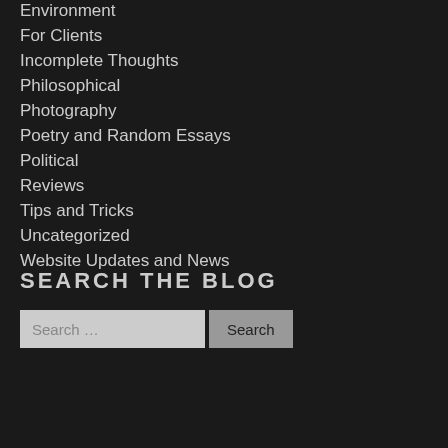Environment
For Clients
Incomplete Thoughts
Philosophical
Photography
Poetry and Random Essays
Political
Reviews
Tips and Tricks
Uncategorized
Website Updates and News
SEARCH THE BLOG
Search ... [Search button]